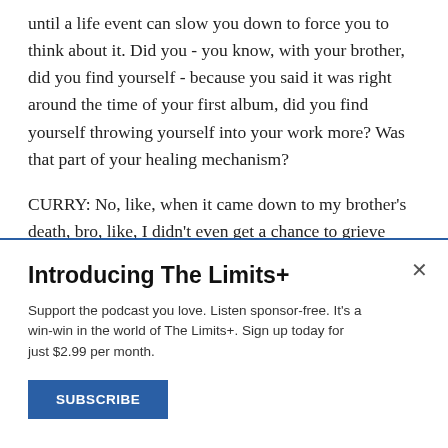until a life event can slow you down to force you to think about it. Did you - you know, with your brother, did you find yourself - because you said it was right around the time of your first album, did you find yourself throwing yourself into your work more? Was that part of your healing mechanism?
CURRY: No, like, when it came down to my brother's death, bro, like, I didn't even get a chance to grieve 'cause I had to do all this work and just distracted myself from it. And then one day, I just broke down and cried. And that was, like, in
Introducing The Limits+
Support the podcast you love. Listen sponsor-free. It's a win-win in the world of The Limits+. Sign up today for just $2.99 per month.
SUBSCRIBE